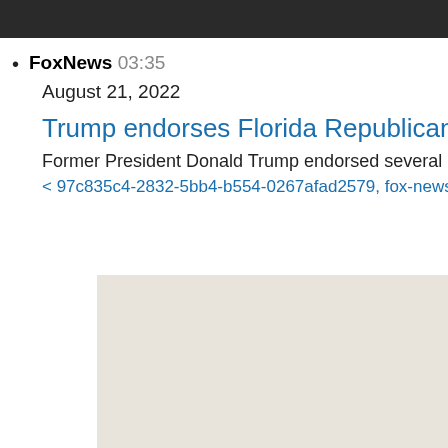[Figure (photo): Dark image at top of page, appears to be a crowd or event photo]
FoxNews 03:35
August 21, 2022
Trump endorses Florida Republican R
Former President Donald Trump endorsed several Florid
< 97c835c4-2832-5bb4-b554-0267afad2579, fox-news/u
[Figure (photo): Light beige/off-white image, lower portion of page]